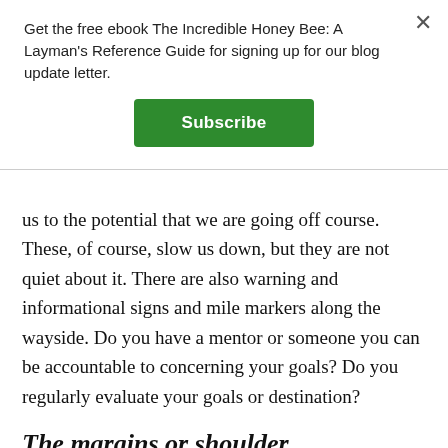Get the free ebook The Incredible Honey Bee: A Layman's Reference Guide for signing up for our blog update letter.
Subscribe
us to the potential that we are going off course. These, of course, slow us down, but they are not quiet about it. There are also warning and informational signs and mile markers along the wayside. Do you have a mentor or someone you can be accountable to concerning your goals? Do you regularly evaluate your goals or destination?
The margins or shoulder